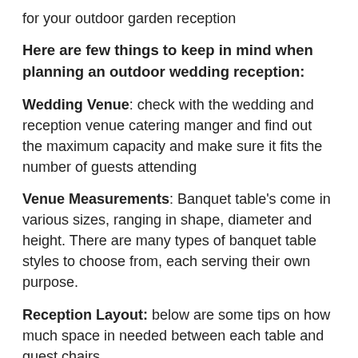for your outdoor garden reception
Here are few things to keep in mind when planning an outdoor wedding reception:
Wedding Venue: check with the wedding and reception venue catering manger and find out the maximum capacity and make sure it fits the number of guests attending
Venue Measurements: Banquet table's come in various sizes, ranging in shape, diameter and height. There are many types of banquet table styles to choose from, each serving their own purpose.
Reception Layout: below are some tips on how much space in needed between each table and guest chairs
How much space should you leave between guests at your reception table
Allow 18" for guest from edge of table to back of